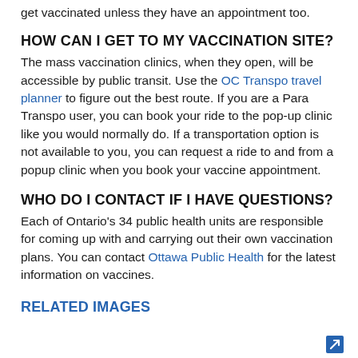get vaccinated unless they have an appointment too.
HOW CAN I GET TO MY VACCINATION SITE?
The mass vaccination clinics, when they open, will be accessible by public transit. Use the OC Transpo travel planner to figure out the best route. If you are a Para Transpo user, you can book your ride to the pop-up clinic like you would normally do. If a transportation option is not available to you, you can request a ride to and from a popup clinic when you book your vaccine appointment.
WHO DO I CONTACT IF I HAVE QUESTIONS?
Each of Ontario's 34 public health units are responsible for coming up with and carrying out their own vaccination plans. You can contact Ottawa Public Health for the latest information on vaccines.
RELATED IMAGES